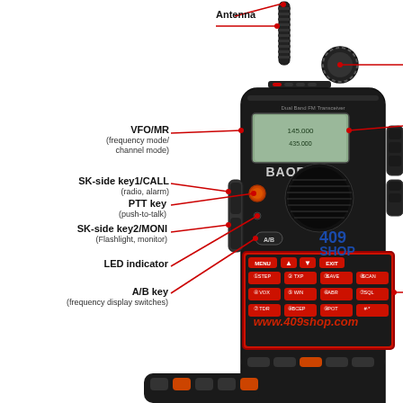[Figure (engineering-diagram): Labeled diagram of a Baofeng Dual Band FM Transceiver handheld radio (walkie-talkie). Labels point to: Antenna, VFO/MR (frequency mode/channel mode), SK-side key1/CALL (radio, alarm), PTT key (push-to-talk), SK-side key2/MONI (Flashlight, monitor), LED indicator, A/B key (frequency display switches), and other unlabeled parts on the right side. The keypad area is highlighted with a red rectangle showing MENU, arrow keys, EXIT, and numbered function keys. 409SHOP logo and www.409shop.com URL are overlaid.]